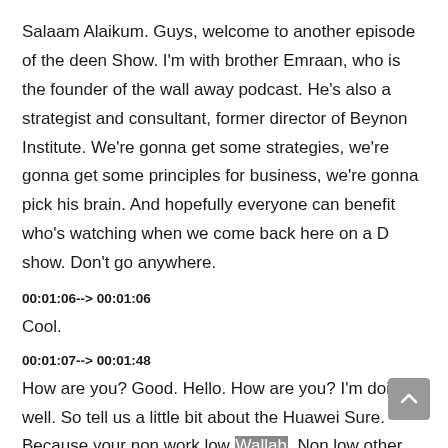Salaam Alaikum. Guys, welcome to another episode of the deen Show. I'm with brother Emraan, who is the founder of the wall away podcast. He's also a strategist and consultant, former director of Beynon Institute. We're gonna get some strategies, we're gonna get some principles for business, we're gonna pick his brain. And hopefully everyone can benefit who's watching when we come back here on a D show. Don't go anywhere.
00:01:06--> 00:01:06
Cool.
00:01:07--> 00:01:48
How are you? Good. Hello. How are you? I'm doing well. So tell us a little bit about the Huawei Sure. Because your non work low Wallah. Non low other non Well, yes, so. So the wall away. The wall away is a